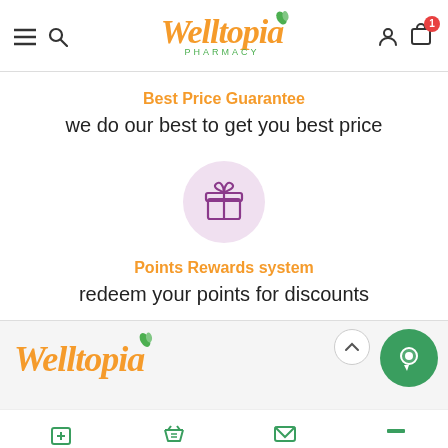[Figure (logo): Welltopia Pharmacy logo with orange cursive text and green leaf]
Best Price Guarantee
we do our best to get you best price
[Figure (illustration): Gift box icon in purple on a light pink circular background]
Points Rewards system
redeem your points for discounts
[Figure (logo): Welltopia logo in orange cursive with green leaf in footer area]
[Figure (illustration): Green chat/search button (circular) and scroll-to-top arrow]
Refill Rx | Shop | Contact